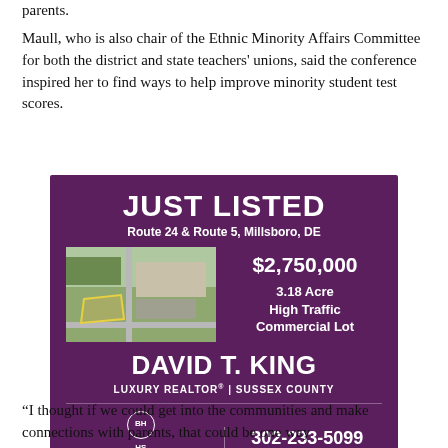parents.
Maull, who is also chair of the Ethnic Minority Affairs Committee for both the district and state teachers' unions, said the conference inspired her to find ways to help improve minority student test scores.
[Figure (infographic): Real estate advertisement for a property listed at Route 24 & Route 5, Millsboro, DE. Price: $2,750,000. 3.18 Acre High Traffic Commercial Lot. Listed by David T. King, Luxury Realtor, Sussex County. Contact: 302-233-5099 mobile. Berkshire Hathaway HomeServices Gallo Realty.]
“I thought if we could get into the communities and make connections with parents, that could be one way